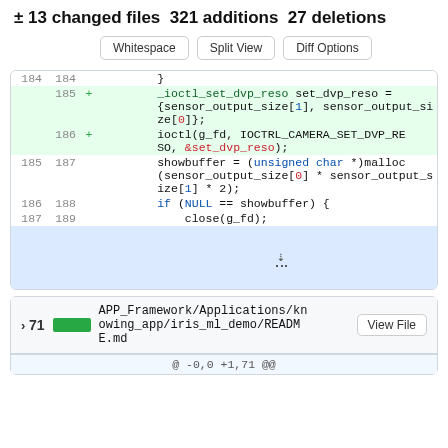± 13 changed files 321 additions 27 deletions
[Figure (screenshot): GitHub diff view showing buttons: Whitespace, Split View, Diff Options]
[Figure (screenshot): Code diff block showing lines 184-189 with additions for _ioctl_set_dvp_reso and ioctl calls]
[Figure (screenshot): File header for APP_Framework/Applications/knowing_app/iris_ml_demo/README.md with 71 additions and View File button]
@ -0,0 +1,71 @@